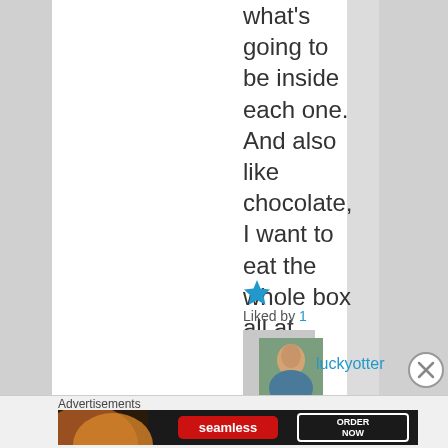what's going to be inside each one. And also like chocolate, I want to eat the whole box all at once!
[Figure (other): Blue star icon (like/favorite button)]
Liked by 1
[Figure (photo): User avatar thumbnail photo]
luckyotter
Advertisements
[Figure (screenshot): Seamless food delivery advertisement banner showing pizza slices on left, Seamless logo in center-red, and ORDER NOW button on right against dark background]